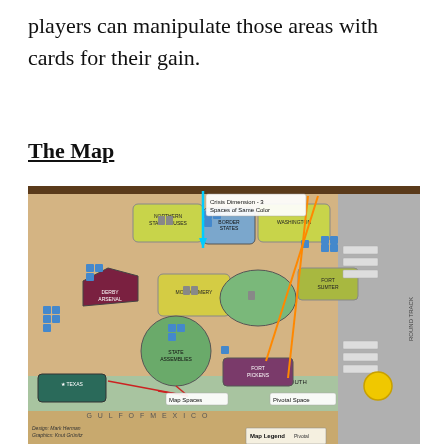players can manipulate those areas with cards for their gain.
The Map
[Figure (photo): Photograph of a board game map showing a Civil War era game board with various location spaces including Texas, Montgomery, State Assemblies, Fort Pickens, Deep South, Fort Sumter, Border States, Northern State Houses, and Washington. Blue cube pieces and gray building pieces are placed on various spaces. Colored lines (cyan, orange, red) point to labeled annotations: 'Crisis Dimension - 3 Spaces of Same Color' (cyan arrow), 'Pivotal Space' (orange arrow), 'Map Spaces' (red arrows). Bottom left credits read 'Design: Mark Herman, Graphics: Knut Grünitz'. Bottom right shows 'Map Legend' with 'Pivotal Spaces' and 'FIND' labels.]